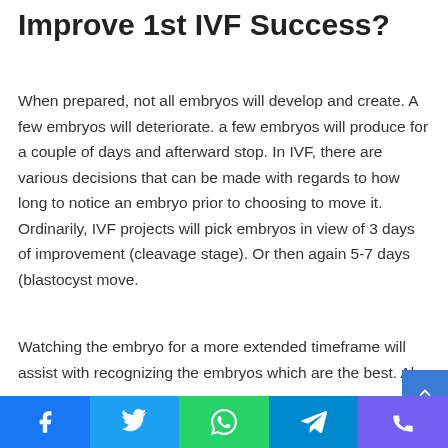Improve 1st IVF Success?
When prepared, not all embryos will develop and create. A few embryos will deteriorate. a few embryos will produce for a couple of days and afterward stop. In IVF, there are various decisions that can be made with regards to how long to notice an embryo prior to choosing to move it. Ordinarily, IVF projects will pick embryos in view of 3 days of improvement (cleavage stage). Or then again 5-7 days (blastocyst move.
Watching the embryo for a more extended timeframe will assist with recognizing the embryos which are the best. Als